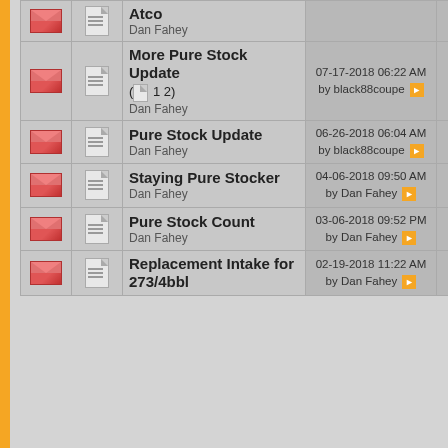|  |  | Topic/Author | Last Post | Replies | Views |
| --- | --- | --- | --- | --- | --- |
| [email] | [doc] | Atco
Dan Fahey |  |  |  |
| [email] | [doc] | More Pure Stock Update (1 2)
Dan Fahey | 07-17-2018 06:22 AM by black88coupe | 11 | 9,279 |
| [email] | [doc] | Pure Stock Update
Dan Fahey | 06-26-2018 06:04 AM by black88coupe | 1 | 4,553 |
| [email] | [doc] | Staying Pure Stocker
Dan Fahey | 04-06-2018 09:50 AM by Dan Fahey | 0 | 5,364 |
| [email] | [doc] | Pure Stock Count
Dan Fahey | 03-06-2018 09:52 PM by Dan Fahey | 2 | 5,097 |
| [email] | [doc] | Replacement Intake for 273/4bbl | 02-19-2018 11:22 AM by Dan Fahey | 4 | 7,314 |